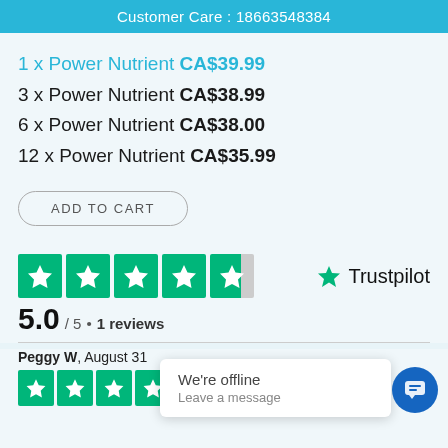Customer Care : 18663548384
1 x Power Nutrient CA$39.99
3 x Power Nutrient CA$38.99
6 x Power Nutrient CA$38.00
12 x Power Nutrient CA$35.99
ADD TO CART
[Figure (other): Trustpilot 5-star rating widget showing 5 green star boxes and Trustpilot logo]
5.0 / 5 • 1 reviews
Peggy W, August 31
[Figure (other): 5 green star rating boxes for review]
We're offline
Leave a message
a great mineral nutrient if you skip meals and don't eat right.... and